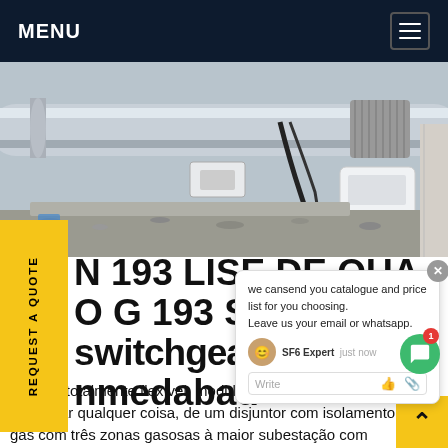MENU
[Figure (photo): Industrial SF6 switchgear equipment outdoors, with pipes, cables, and a white monitoring device on gravel]
N 193 LISE DE QUA... DE O G 193 S SF6 switchgear nmedabad
we cansend you catalogue and price list for you choosing. Leave us your email or whatsapp.
sistema totalmente flexível, modular e escalonável para monitorar qualquer coisa, de um disjuntor com isolamento a gás com três zonas gasosas à maior subestação com isolamento a gás